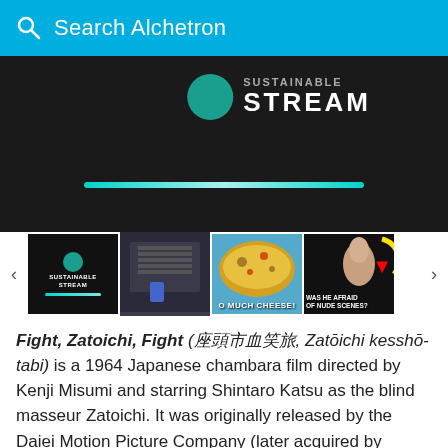Search Alchetron
[Figure (screenshot): Video player showing 'Sustainable Stream' with teal circle logo and progress bar on dark background]
[Figure (screenshot): Thumbnail strip with four video thumbnails: Sustainable Stream, a laundry/basket scene, a food dish with cheese text, and a scene with 'WAS HE AFRAID OF NUDE SCENES?' text]
Fight, Zatoichi, Fight (座頭市血笑旅, Zatōichi kesshō-tabi) is a 1964 Japanese chambara film directed by Kenji Misumi and starring Shintaro Katsu as the blind masseur Zatoichi. It was originally released by the Daiei Motion Picture Company (later acquired by Kadokawa Pictures).
Covid-19